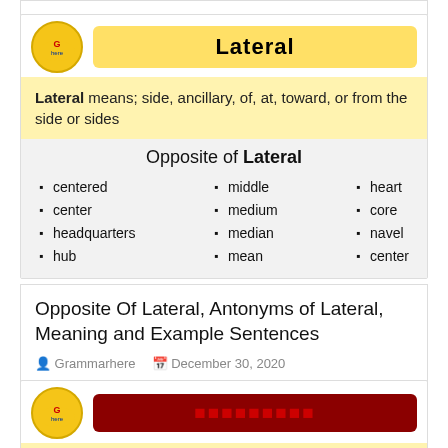[Figure (illustration): Partial top of a card with white background and light border]
[Figure (logo): Gold circle logo with red and blue accents and yellow button label reading 'Lateral']
Lateral means; side, ancillary, of, at, toward, or from the side or sides
Opposite of Lateral
centered
center
headquarters
hub
middle
medium
median
mean
heart
core
navel
center
Opposite Of Lateral, Antonyms of Lateral, Meaning and Example Sentences
Grammarhere   December 30, 2020
[Figure (logo): Gold circle logo with red and blue accents and dark red button label (partially visible)]
Remember means; recall, recollect, call to mind, call up, recapture